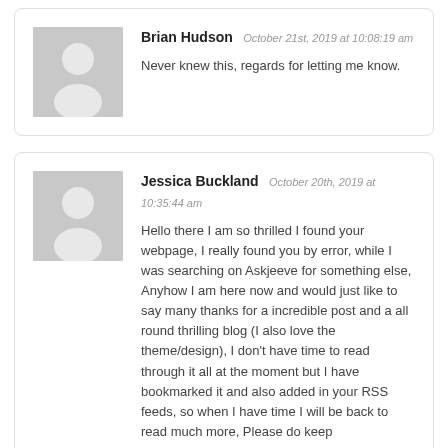Brian Hudson October 21st, 2019 at 10:08:19 am — Never knew this, regards for letting me know.
Jessica Buckland October 20th, 2019 at 10:35:44 am — Hello there I am so thrilled I found your webpage, I really found you by error, while I was searching on Askjeeve for something else, Anyhow I am here now and would just like to say many thanks for a incredible post and a all round thrilling blog (I also love the theme/design), I don't have time to read through it all at the moment but I have bookmarked it and also added in your RSS feeds, so when I have time I will be back to read much more, Please do keep up the excellent work.